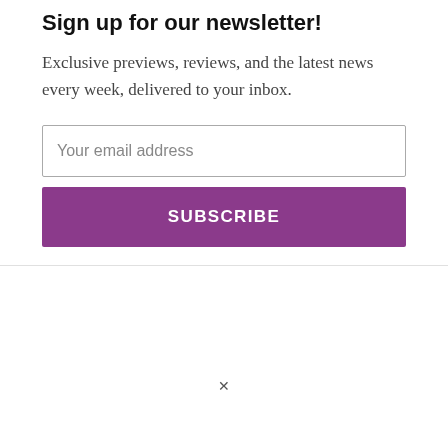Sign up for our newsletter!
Exclusive previews, reviews, and the latest news every week, delivered to your inbox.
Your email address
SUBSCRIBE